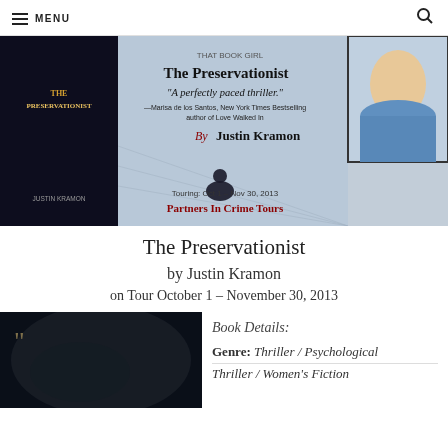MENU
[Figure (photo): Banner for The Preservationist book tour featuring book cover, quote 'A perfectly paced thriller.' by Marisa de los Santos, author photo of Justin Kramon, touring dates Oct 1 - Nov 30, 2013, Partners In Crime Tours]
The Preservationist
by Justin Kramon
on Tour October 1 – November 30, 2013
[Figure (photo): Dark close-up book cover image of The Preservationist with large quotation mark overlay]
Book Details:
Genre: Thriller / Psychological Thriller / Women's Fiction